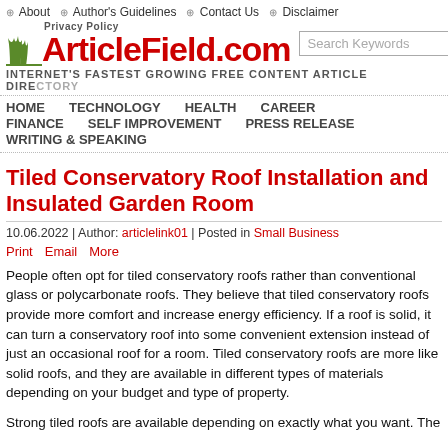About | Author's Guidelines | Contact Us | Disclaimer | Privacy Policy
[Figure (logo): ArticleField.com logo with grass icon on left and red bold text]
INTERNET'S FASTEST GROWING FREE CONTENT ARTICLE DIRECTORY
HOME  TECHNOLOGY  HEALTH  CAREER  FINANCE  SELF IMPROVEMENT  PRESS RELEASE  WRITING & SPEAKING
Tiled Conservatory Roof Installation and Insulated Garden Room
10.06.2022 | Author: articlelink01 | Posted in Small Business
Print Email More
People often opt for tiled conservatory roofs rather than conventional glass or polycarbonate roofs. They believe that tiled conservatory roofs provide more comfort and increase energy efficiency. If a roof is solid, it can turn a conservatory roof into some convenient extension instead of just an occasional roof for a room. Tiled conservatory roofs are more like solid roofs, and they are available in different types of materials depending on your budget and type of property.
Strong tiled roofs are available depending on exactly what you want. The